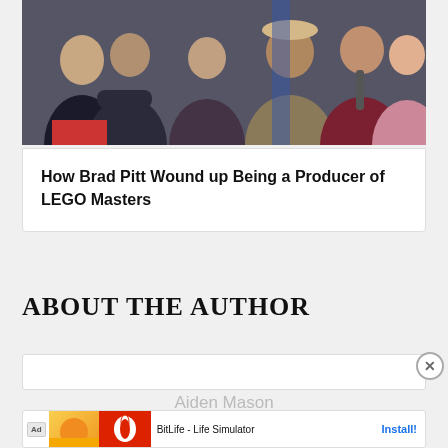[Figure (photo): Group of people on a TV show set, appearing to be judges or contestants on LEGO Masters]
How Brad Pitt Wound up Being a Producer of LEGO Masters
ABOUT THE AUTHOR
Aiden Mason
[Figure (screenshot): Advertisement for BitLife - Life Simulator app with Install button]